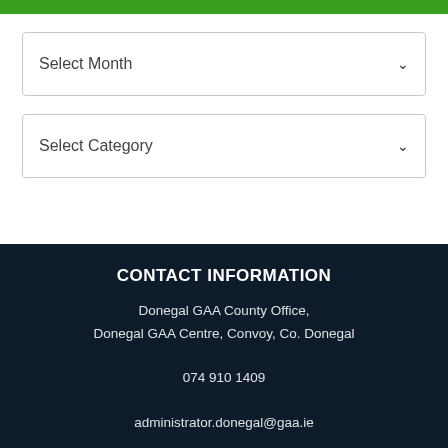[Figure (screenshot): Green header bar at the top of the page]
Select Month
Select Category
CONTACT INFORMATION
Donegal GAA County Office,
Donegal GAA Centre, Convoy, Co. Donegal
074 910 1409
administrator.donegal@gaa.ie